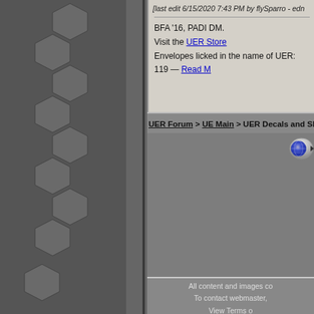[Figure (illustration): Dark gray left sidebar panel with hexagonal pattern overlay, multiple gray hexagons arranged vertically]
[last edit 6/15/2020 7:43 PM by flySparro - edn
BFA '16, PADI DM.
Visit the UER Store
Envelopes licked in the name of UER: 119 — Read M
UER Forum > UE Main > UER Decals and Shirts! (Viewed 27379
[Figure (screenshot): Globe/navigation button, blue and silver circular button]
This th
All content and images co
To contact webmaster,
View Terms o
This page was generated for you